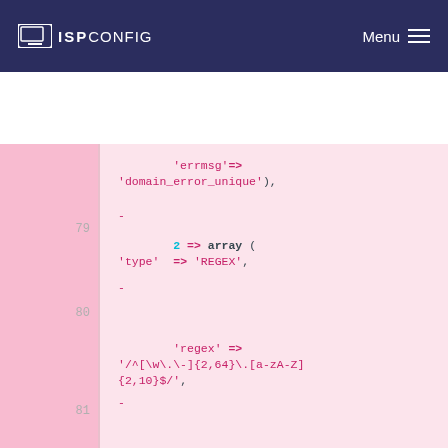ISPConfig Menu
[Figure (screenshot): Code editor showing PHP array syntax with line numbers 79-82. Lines show: 'errmsg' => 'domain_error_unique'), line 79 with dash, 2 => array ( 'type' => 'REGEX', line 80 with dash, 'regex' => '/^[\w\.\-]{2,64}\.[a-zA-Z]{2,10}$/', line 81 with dash, 'errmsg' => 'domain_error_regex'), line 82 with dash.]